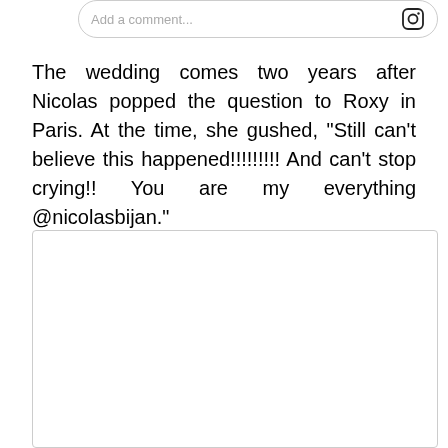[Figure (screenshot): Partial comment input box with 'Add a comment...' placeholder text and an Instagram icon on the right]
The wedding comes two years after Nicolas popped the question to Roxy in Paris. At the time, she gushed, “Still can't believe this happened!!!!!!!!! And can't stop crying!! You are my everything @nicolasbijan."
[Figure (photo): Large white/blank image box with rounded corners and light border]